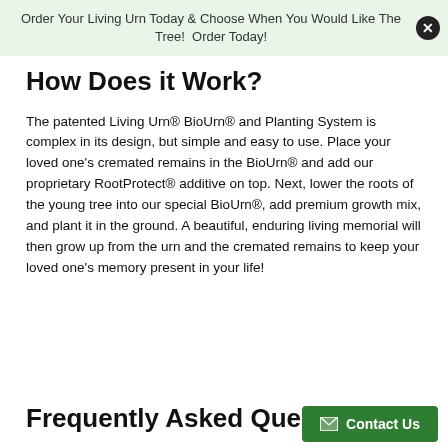Order Your Living Urn Today & Choose When You Would Like The Tree! Order Today!
How Does it Work?
The patented Living Urn® BioUrn® and Planting System is complex in its design, but simple and easy to use. Place your loved one's cremated remains in the BioUrn® and add our proprietary RootProtect® additive on top. Next, lower the roots of the young tree into our special BioUrn®, add premium growth mix, and plant it in the ground. A beautiful, enduring living memorial will then grow up from the urn and the cremated remains to keep your loved one's memory present in your life!
Frequently Asked Ques…